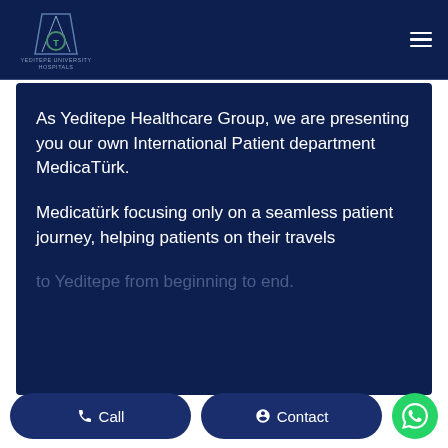[Figure (logo): Yeditepe University Hospitals logo — triangular mountain shape with a circular emblem and text 'YEDITEPE UNIVERSITY HOSPITALS' below]
As Yeditepe Healthcare Group, we are presenting you our own International Patient department MedicaTürk.
Medicatürk focusing only on a seamless patient journey, helping patients on their travels
to Yeditepe from beginning to end.
Call   Contact   WhatsApp